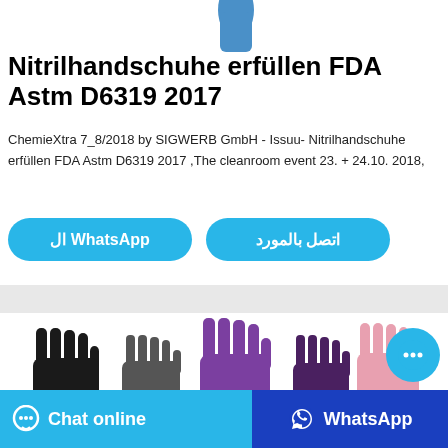[Figure (illustration): Partial blue nitrile glove illustration at top center of page]
Nitrilhandschuhe erfüllen FDA Astm D6319 2017
ChemieXtra 7_8/2018 by SIGWERB GmbH - Issuu- Nitrilhandschuhe erfüllen FDA Astm D6319 2017 ,The cleanroom event 23. + 24.10. 2018,
ال WhatsApp
اتصل بالمورد
[Figure (photo): Three nitrile gloves in black, purple, and pink colors displayed on white background]
[Figure (illustration): Floating chat bubble icon button (cyan circle with three dots)]
Chat online
WhatsApp